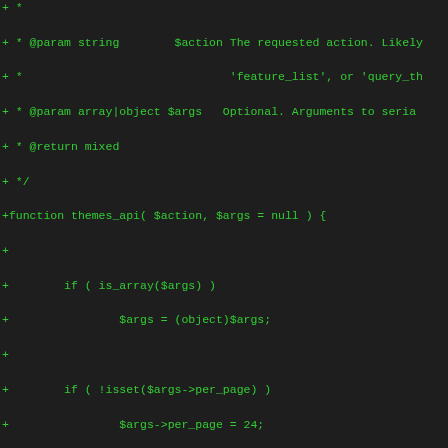Code diff showing PHP function themes_api with parameter documentation and filter comments